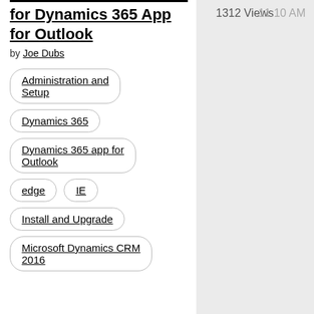for Dynamics 365 App for Outlook
by Joe Dubs
Administration and Setup
Dynamics 365
Dynamics 365 app for Outlook
edge
IE
Install and Upgrade
Microsoft Dynamics CRM 2016
1312 Views
11:10 AM